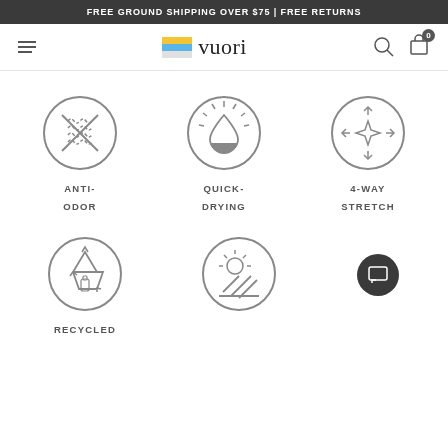FREE GROUND SHIPPING OVER $75 | FREE RETURNS
[Figure (logo): Vuori logo with colorful flag icon and brand name]
[Figure (infographic): Three product feature icons: Anti-Odor (fabric with X), Quick-Drying (water drop with sun), 4-Way Stretch (expand arrows with star)]
ANTI-
ODOR
QUICK-
DRYING
4-WAY
STRETCH
[Figure (infographic): Two product feature icons partially visible: Recycled (recycling symbol with bottle), and a UV/sun protection icon]
RECYCLED